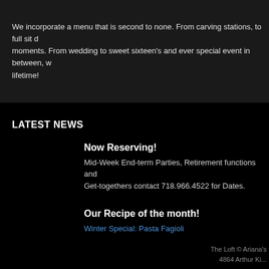We incorporate a menu that is second to none. From carving stations, to full sit d... moments. From wedding to sweet sixteen's and ever special event in between, w... lifetime!
LATEST NEWS
Now Reserving! Mid-Week End-term Parties, Retirement functions and Get-togethers contact 718.966.4522 for Dates.
Our Recipe of the month! Winter Special: Pasta Fagioli
The Loft © Ariana's
4864 Arthur Ki...